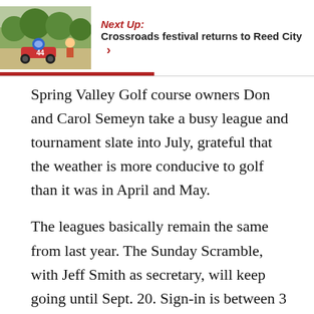[Figure (photo): Photo of a go-kart racing scene with people on a track, trees in background]
Next Up: Crossroads festival returns to Reed City >
Spring Valley Golf course owners Don and Carol Semeyn take a busy league and tournament slate into July, grateful that the weather is more conducive to golf than it was in April and May.
The leagues basically remain the same from last year. The Sunday Scramble, with Jeff Smith as secretary, will keep going until Sept. 20. Sign-in is between 3 and 3:30 p.m. There are two leagues on Monday with the Masters starting at 1:30 and open to men 55 and older, with Don